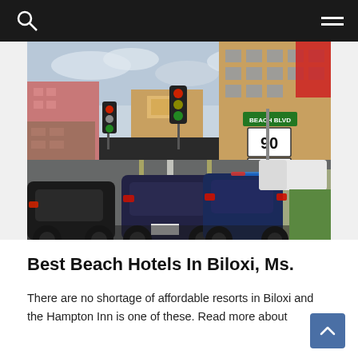Navigation bar with search and menu icons
[Figure (photo): Street-level photo of Beach Blvd (Highway 90) in Biloxi, MS. Cars are stopped at a traffic light. A casino hotel building is visible in the background on the right. Road signs show BEACH BLVD and Route 90. Traffic lights visible ahead.]
Best Beach Hotels In Biloxi, Ms.
There are no shortage of affordable resorts in Biloxi and the Hampton Inn is one of these. Read more about